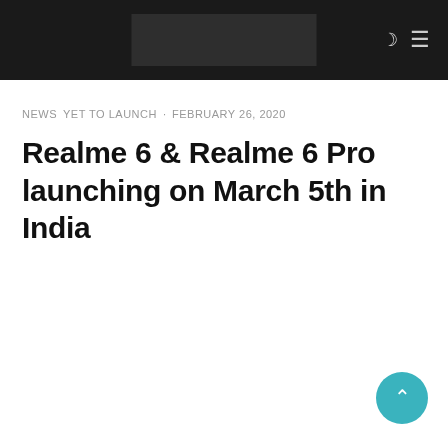NEWS · YET TO LAUNCH · FEBRUARY 26, 2020
Realme 6 & Realme 6 Pro launching on March 5th in India